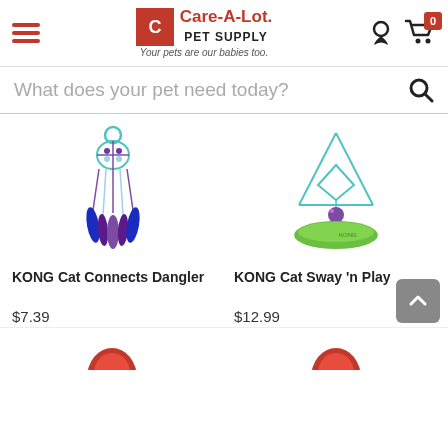Care-A-Lot Pet Supply — Your pets are our babies too.
What does your pet need today?
[Figure (photo): KONG Cat Connects Dangler cat toy with feathers and dreamcatcher-style design]
KONG Cat Connects Dangler
$7.39
[Figure (photo): KONG Cat Sway 'n Play cat toy with green base and wire frame with ball]
KONG Cat Sway 'n Play
$12.99